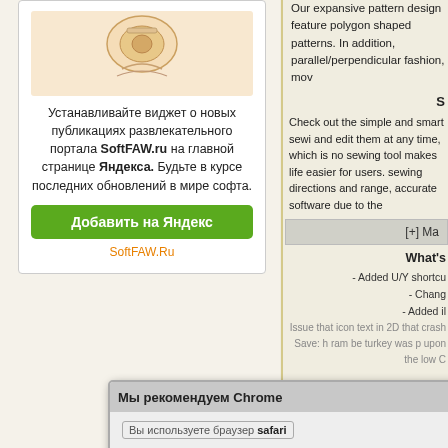[Figure (screenshot): Widget box with Yandex integration for SoftFAW.ru. Contains an illustration of a sewing-related image at top, Russian text about installing a widget, a green 'Добавить на Яндекс' button, and an orange 'SoftFAW.Ru' link.]
Our expansive pattern design features polygon shaped patterns. In addition, parallel/perpendicular fashion, mov
S
Check out the simple and smart sewing and edit them at any time, which is not sewing tool makes life easier for users. sewing directions and range, accurate software due to the
[+] Ma
What's
- Added U/Y shortcu
- Chang
- Added il
[Figure (screenshot): Browser recommendation popup dialog in Russian. Header says 'Мы рекомендуем Chrome' with a red X close button. Body contains a bordered section labeled 'Вы используете браузер safari' with text recommending Google Chrome browser. There is a blue 'Загрузить Chrome' button and a timer bar saying 'Окно закроется через 30 секунд'.]